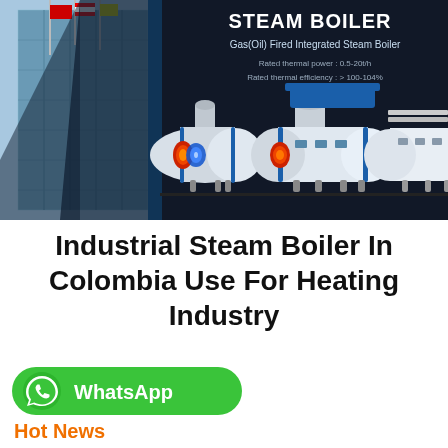[Figure (photo): Dark background promotional banner showing industrial steam boilers. Left side shows a modern glass building with flagpoles. Center and right show three gas(oil) fired integrated steam boilers in white and blue, with red burner openings visible. Text overlay reads: STEAM BOILER, Gas(Oil) Fired Integrated Steam Boiler, Rated thermal power: 0.5-20t/h, Rated thermal efficiency: > 100-104%]
Industrial Steam Boiler In Colombia Use For Heating Industry
[Figure (logo): Green rounded rectangle WhatsApp button with white phone handset icon and white WhatsApp text]
Hot News